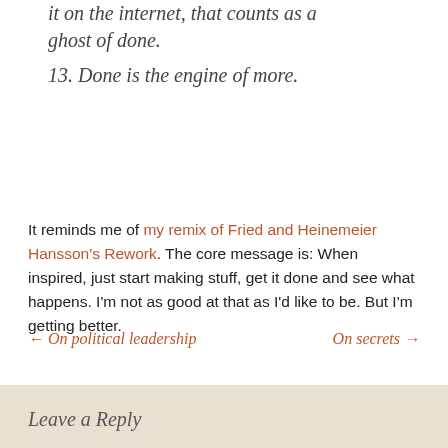it on the internet, that counts as a ghost of done.
13. Done is the engine of more.
It reminds me of my remix of Fried and Heinemeier Hansson's Rework. The core message is: When inspired, just start making stuff, get it done and see what happens. I'm not as good at that as I'd like to be. But I'm getting better.
← On political leadership
On secrets →
Leave a Reply